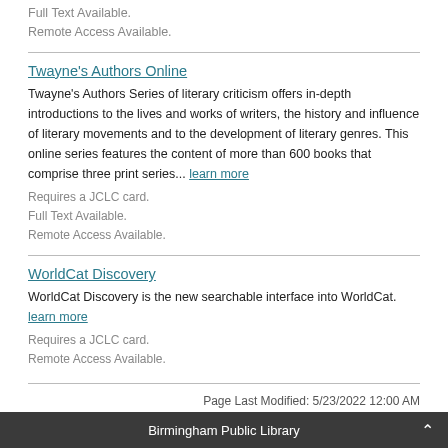Full Text Available.
Remote Access Available.
Twayne's Authors Online
Twayne's Authors Series of literary criticism offers in-depth introductions to the lives and works of writers, the history and influence of literary movements and to the development of literary genres. This online series features the content of more than 600 books that comprise three print series... learn more
Requires a JCLC card.
Full Text Available.
Remote Access Available.
WorldCat Discovery
WorldCat Discovery is the new searchable interface into WorldCat. learn more
Requires a JCLC card.
Remote Access Available.
Page Last Modified: 5/23/2022 12:00 AM
Birmingham Public Library